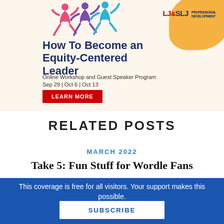[Figure (infographic): LJ & SLJ Professional Development advertisement banner with colorful dancing figures logo, orange decorative blob, and red Learn More button. Title: How To Become an Equity-Centered Leader. Online Workshop and Guest Speaker Program. Sep 29 | Oct 6 | Oct 13.]
RELATED POSTS
MARCH 2022
Take 5: Fun Stuff for Wordle Fans
This coverage is free for all visitors. Your support makes this possible.
SUBSCRIBE